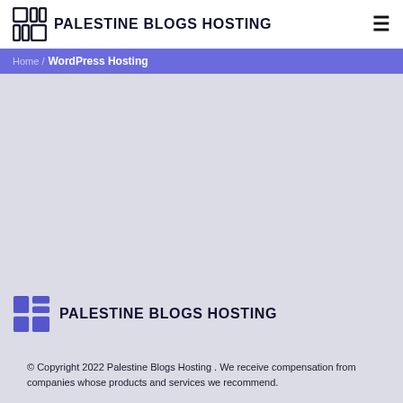PALESTINE BLOGS HOSTING
WordPress Hosting
[Figure (logo): Palestine Blogs Hosting logo with grid icon and site name]
© Copyright 2022 Palestine Blogs Hosting . We receive compensation from companies whose products and services we recommend.